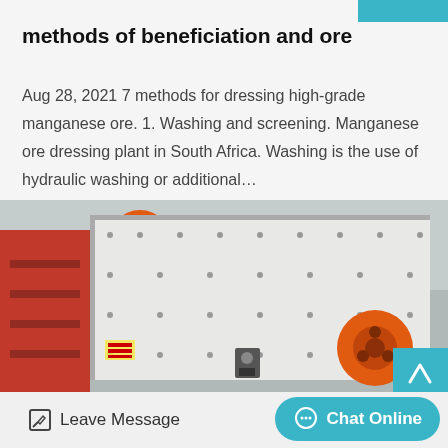methods of beneficiation and ore
Aug 28, 2021 7 methods for dressing high-grade manganese ore. 1. Washing and screening. Manganese ore dressing plant in South Africa. Washing is the use of hydraulic washing or additional…
[Figure (photo): Industrial ore dressing / screening machine with red and white painted metal frame and orange motor pulleys, shown in a factory setting.]
Leave Message
Chat Online